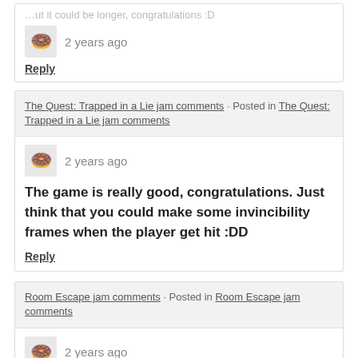…ut it could be longer, congratulations :D
Reply
The Quest: Trapped in a Lie jam comments · Posted in The Quest: Trapped in a Lie jam comments
2 years ago
The game is really good, congratulations. Just think that you could make some invincibility frames when the player get hit :DD
Reply
Room Escape jam comments · Posted in Room Escape jam comments
2 years ago
I really liked the game, but it is hard to play because there's